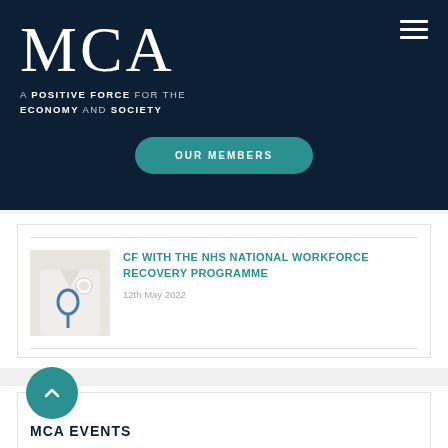[Figure (logo): MCA logo with tagline 'A POSITIVE FORCE FOR THE ECONOMY AND SOCIETY' on dark navy background]
OUR MEMBERS
CF WITH THE NHS NATIONAL WORKFORCE RECOVERY PROGRAMME
12th May 2022
MCA EVENTS